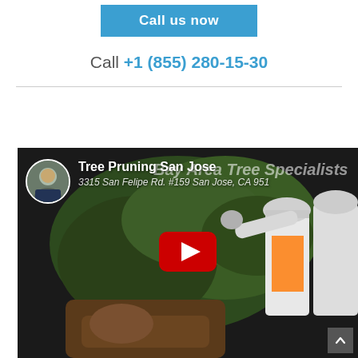[Figure (other): Blue 'Call us now' button]
Call +1 (855) 280-15-30
[Figure (screenshot): YouTube video thumbnail showing tree pruning workers in hard hats with text 'Tree Pruning San Jose' and 'Bay Area Tree Specialists, 3315 San Felipe Rd. #159 San Jose, CA 951...' with a YouTube play button overlay]